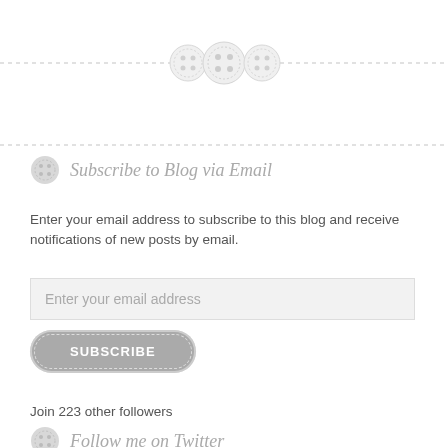[Figure (illustration): Decorative horizontal dashed divider with three sewing button icons in the center]
[Figure (illustration): Horizontal dashed divider line]
Subscribe to Blog via Email
Enter your email address to subscribe to this blog and receive notifications of new posts by email.
[Figure (illustration): Email input text field with placeholder 'Enter your email address']
[Figure (illustration): Subscribe button with dashed border outline]
Join 223 other followers
Follow me on Twitter